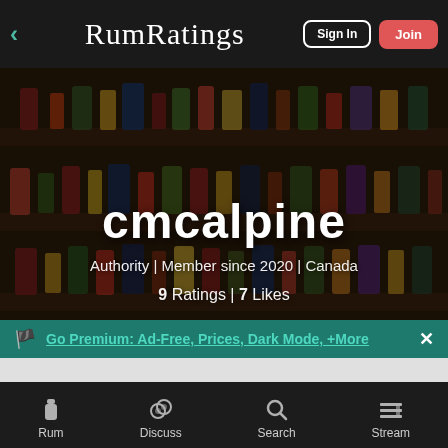RumRatings — Sign In | Join
cmcalpine
Authority | Member since 2020 | Canada
9 Ratings | 7 Likes
Go Premium: Ad-Free, Prices, Dark Mode, +More
Rum | Discuss | Search | Stream